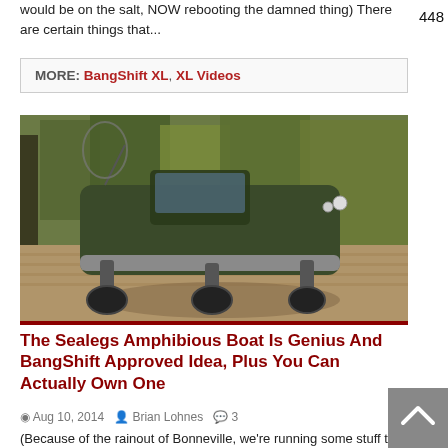would be on the salt, NOW rebooting the damned thing) There are certain things that...
MORE: BangShift XL, XL Videos
[Figure (photo): Photo of a Sealegs amphibious boat on land, showing the boat body with wheels/legs extended, parked on a brick/paved surface with trees in the background]
The Sealegs Amphibious Boat Is Genius And BangShift Approved Idea, Plus You Can Actually Own One
Aug 10, 2014   Brian Lohnes   3
(Because of the rainout of Bonneville, we're running some stuff that would be of use or fun on the water logged Salt Flats today.) Virtually every day of my life